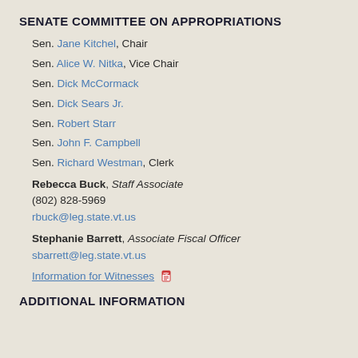SENATE COMMITTEE ON APPROPRIATIONS
Sen. Jane Kitchel, Chair
Sen. Alice W. Nitka, Vice Chair
Sen. Dick McCormack
Sen. Dick Sears Jr.
Sen. Robert Starr
Sen. John F. Campbell
Sen. Richard Westman, Clerk
Rebecca Buck, Staff Associate
(802) 828-5969
rbuck@leg.state.vt.us
Stephanie Barrett, Associate Fiscal Officer
sbarrett@leg.state.vt.us
Information for Witnesses
ADDITIONAL INFORMATION